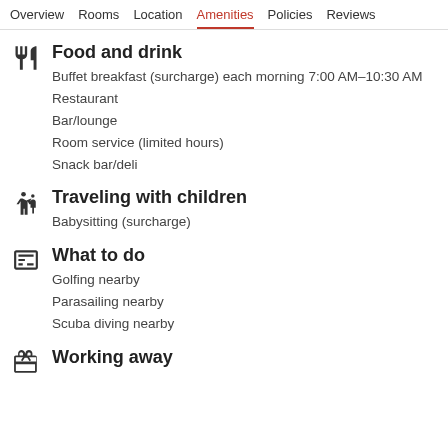Overview  Rooms  Location  Amenities  Policies  Reviews
Food and drink
Buffet breakfast (surcharge) each morning 7:00 AM–10:30 AM
Restaurant
Bar/lounge
Room service (limited hours)
Snack bar/deli
Traveling with children
Babysitting (surcharge)
What to do
Golfing nearby
Parasailing nearby
Scuba diving nearby
Working away